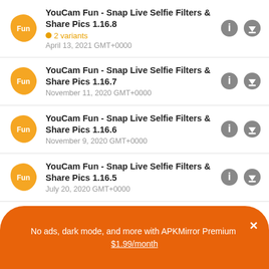YouCam Fun - Snap Live Selfie Filters & Share Pics 1.16.8
2 variants
April 13, 2021 GMT+0000
YouCam Fun - Snap Live Selfie Filters & Share Pics 1.16.7
November 11, 2020 GMT+0000
YouCam Fun - Snap Live Selfie Filters & Share Pics 1.16.6
November 9, 2020 GMT+0000
YouCam Fun - Snap Live Selfie Filters & Share Pics 1.16.5
July 20, 2020 GMT+0000
YouCam Fun - Snap Live Selfie Filters & Share Pics 1.16.4
No ads, dark mode, and more with APKMirror Premium ✕
$1.99/month